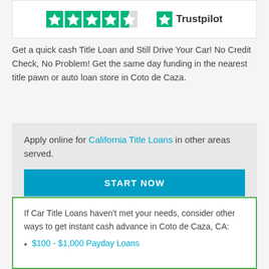[Figure (logo): Trustpilot rating widget showing star rating icons and Trustpilot logo]
Get a quick cash Title Loan and Still Drive Your Car! No Credit Check, No Problem! Get the same day funding in the nearest title pawn or auto loan store in Coto de Caza.
Apply online for California Title Loans in other areas served.
START NOW
If Car Title Loans haven't met your needs, consider other ways to get instant cash advance in Coto de Caza, CA:
$100 - $1,000 Payday Loans